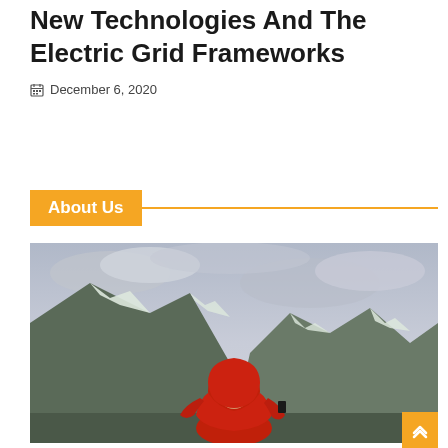New Technologies And The Electric Grid Frameworks
December 6, 2020
About Us
[Figure (photo): Person wearing a red hooded jacket photographing or looking at a mountainous snowy landscape with overcast sky, viewed from behind.]